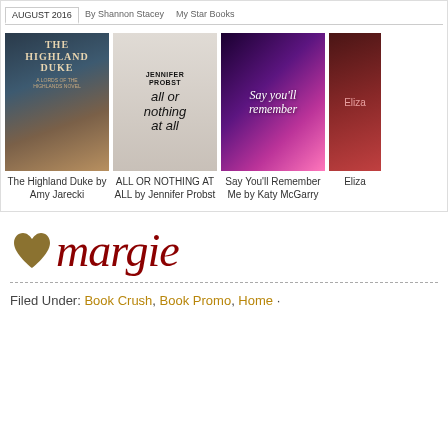[Figure (screenshot): Book covers: The Highland Duke by Amy Jarecki, ALL OR NOTHING AT ALL by Jennifer Probst, Say You'll Remember Me by Katy McGarry, and a partially visible fourth book]
The Highland Duke by Amy Jarecki
ALL OR NOTHING AT ALL by Jennifer Probst
Say You'll Remember Me by Katy McGarry
[Figure (logo): Margie logo with gold heart and red italic margie text]
Filed Under: Book Crush, Book Promo, Home ·
[Figure (illustration): Row of small red hearts as decorative divider]